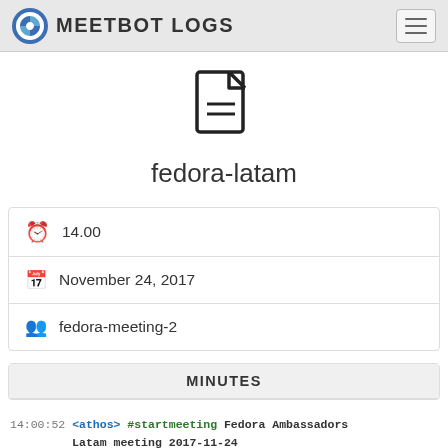MEETBOT LOGS
[Figure (illustration): Document/file icon, simple line art of a page with text lines]
fedora-latam
| 🕐 | 14.00 |
| 📅 | November 24, 2017 |
| 👥 | fedora-meeting-2 |
MINUTES
14:00:52 <athos> #startmeeting Fedora Ambassadors Latam meeting 2017-11-24
14:00:53 <zodbot> Meeting started Fri Nov 24 14:00:52